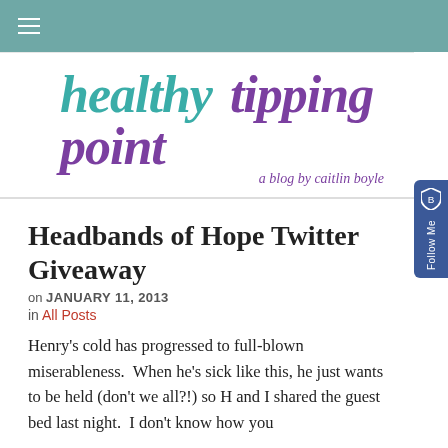≡ (navigation menu)
[Figure (logo): Healthy Tipping Point blog logo - 'healthy' in teal cursive, 'tipping point' in purple cursive, 'a blog by caitlin boyle' in purple italic below]
Headbands of Hope Twitter Giveaway
on JANUARY 11, 2013
in All Posts
Henry's cold has progressed to full-blown miserableness.  When he's sick like this, he just wants to be held (don't we all?!) so H and I shared the guest bed last night.  I don't know how you